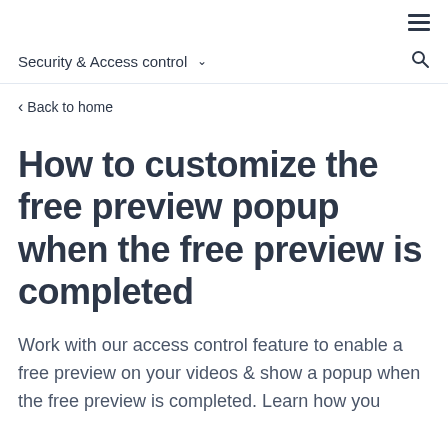≡
Security & Access control ⌄
‹ Back to home
How to customize the free preview popup when the free preview is completed
Work with our access control feature to enable a free preview on your videos & show a popup when the free preview is completed. Learn how you